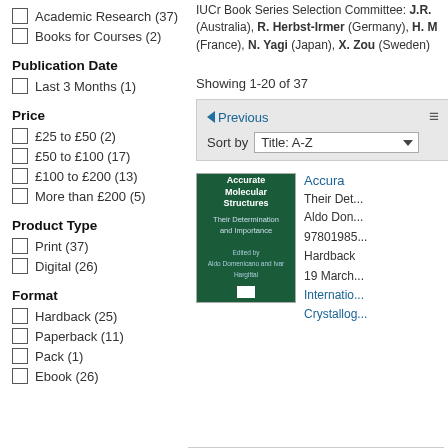Academic Research (37)
Books for Courses (2)
Publication Date
Last 3 Months (1)
Price
£25 to £50 (2)
£50 to £100 (17)
£100 to £200 (13)
More than £200 (5)
Product Type
Print (37)
Digital (26)
Format
Hardback (25)
Paperback (11)
Pack (1)
Ebook (26)
IUCr Book Series Selection Committee: J.R. (Australia), R. Herbst-Irmer (Germany), H. M (France), N. Yagi (Japan), X. Zou (Sweden)
Showing 1-20 of 37
Previous | Sort by Title: A-Z
[Figure (photo): Book cover of Accurate Molecular Structures - Their Determination and Importance, dark green cover]
Accurate Molecular Structures
Their Determination and Importance
Aldo Don...
9780198...
Hardback
19 March...
International Union of Crystallography...